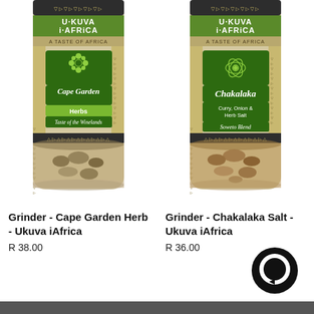[Figure (photo): Photo of Ukuva iAfrica spice grinder bottle - Cape Garden Herbs, Taste of the Winelands, with herbs visible through glass]
[Figure (photo): Photo of Ukuva iAfrica spice grinder bottle - Chakalaka, Curry Onion & Herb Salt, Soweto Blend, with spices visible through glass]
Grinder - Cape Garden Herb - Ukuva iAfrica
R 38.00
Grinder - Chakalaka Salt - Ukuva iAfrica
R 36.00
[Figure (illustration): Black circular chat/messaging icon bubble in bottom right corner]